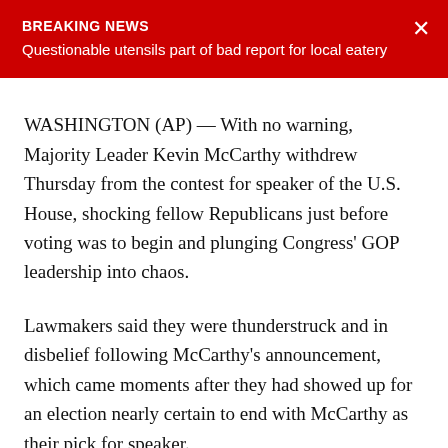BREAKING NEWS
Questionable utensils part of bad report for local eatery
WASHINGTON (AP) — With no warning, Majority Leader Kevin McCarthy withdrew Thursday from the contest for speaker of the U.S. House, shocking fellow Republicans just before voting was to begin and plunging Congress' GOP leadership into chaos.
Lawmakers said they were thunderstruck and in disbelief following McCarthy's announcement, which came moments after they had showed up for an election nearly certain to end with McCarthy as their pick for speaker.